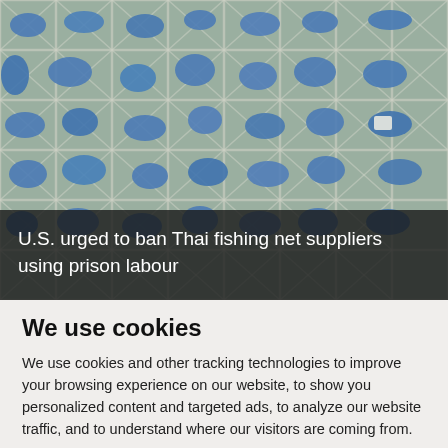[Figure (photo): Aerial overhead photograph showing many people in blue uniforms/clothing lying or sitting on the ground behind a chain-link metal fence grid, viewed from above.]
U.S. urged to ban Thai fishing net suppliers using prison labour
We use cookies
We use cookies and other tracking technologies to improve your browsing experience on our website, to show you personalized content and targeted ads, to analyze our website traffic, and to understand where our visitors are coming from.